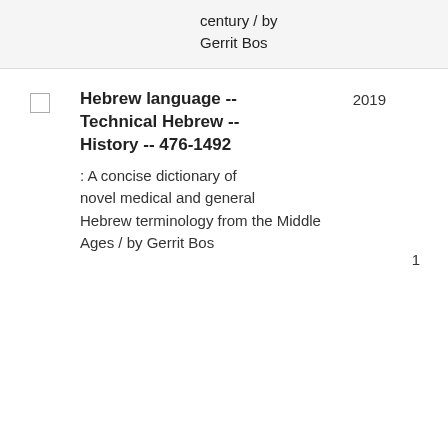century / by Gerrit Bos
Hebrew language -- Technical Hebrew -- History -- 476-1492 : A concise dictionary of novel medical and general Hebrew terminology from the Middle Ages / by Gerrit Bos
2019
1